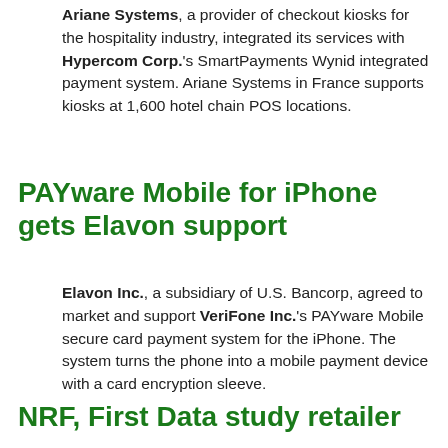Ariane Systems, a provider of checkout kiosks for the hospitality industry, integrated its services with Hypercom Corp.'s SmartPayments Wynid integrated payment system. Ariane Systems in France supports kiosks at 1,600 hotel chain POS locations.
PAYware Mobile for iPhone gets Elavon support
Elavon Inc., a subsidiary of U.S. Bancorp, agreed to market and support VeriFone Inc.'s PAYware Mobile secure card payment system for the iPhone. The system turns the phone into a mobile payment device with a card encryption sleeve.
NRF, First Data study retailer security